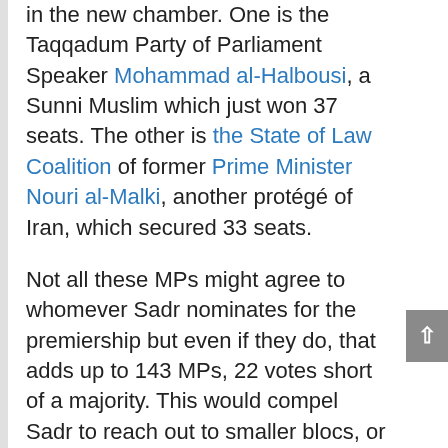in the new chamber. One is the Taqqadum Party of Parliament Speaker Mohammad al-Halbousi, a Sunni Muslim which just won 37 seats. The other is the State of Law Coalition of former Prime Minister Nouri al-Malki, another protégé of Iran, which secured 33 seats.
Not all these MPs might agree to whomever Sadr nominates for the premiership but even if they do, that adds up to 143 MPs, 22 votes short of a majority. This would compel Sadr to reach out to smaller blocs, or to his former friends in the Iran-backed camp, men like al-Amiri and Fayyad. Although critical of the final results, they have no option but to accept them. Otherwise, they would have to either withdraw their candidates from parliament, considering it